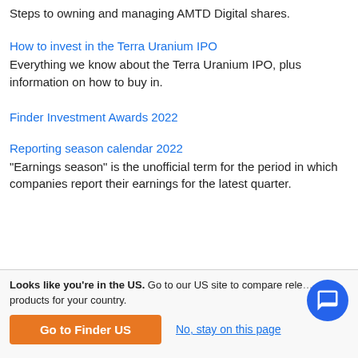Steps to owning and managing AMTD Digital shares.
How to invest in the Terra Uranium IPO
Everything we know about the Terra Uranium IPO, plus information on how to buy in.
Finder Investment Awards 2022
Reporting season calendar 2022
"Earnings season" is the unofficial term for the period in which companies report their earnings for the latest quarter.
Looks like you're in the US. Go to our US site to compare relevant products for your country. Go to Finder US | No, stay on this page